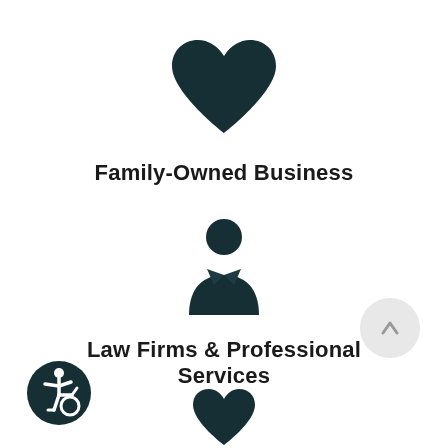[Figure (illustration): Dark teal heart icon]
Family-Owned Business
[Figure (illustration): Dark teal person/businessman icon with suit and tie]
Law Firms & Professional Services
[Figure (illustration): Small dark teal heart icon at bottom center]
[Figure (illustration): Circular up-arrow navigation button (light grey)]
[Figure (illustration): Accessibility wheelchair user badge (dark teal circle, bottom left)]